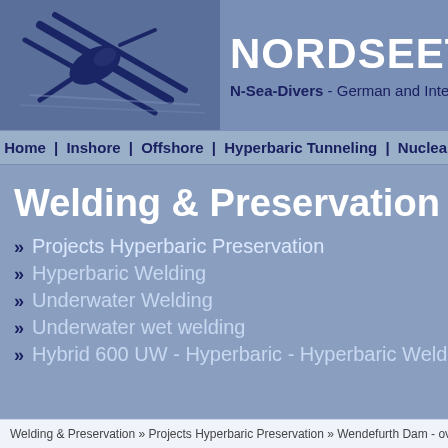[Figure (logo): Nordseetaucher diver logo with diagonal lines in dark blue on blue background]
NORDSEETAUCHE - N-Sea-Divers - German and International D
Home | Inshore | Offshore | Hyperbaric Tunneling | Nuclear Diving | Welding
Welding & Preservation
» Projects Hyperbaric Preservation
» Hyperbaric Welding
» Underwater Welding
» Underwater wet welding
» Hybrid 600 UW - Hyperbaric - Hyperbaric Welding E
Welding & Preservation » Projects Hyperbaric Preservation » Wendefurth Dam - ov